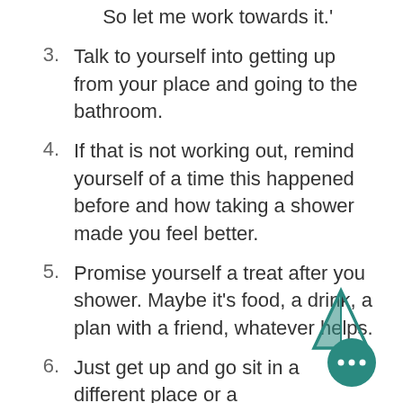So let me work towards it.'
3. Talk to yourself into getting up from your place and going to the bathroom.
4. If that is not working out, remind yourself of a time this happened before and how taking a shower made you feel better.
5. Promise yourself a treat after you shower. Maybe it's food, a drink, a plan with a friend, whatever helps.
6. Just get up and go sit in a different place or a different room. If you did that, you're more likely to make yourself the bathroom. And then take that
[Figure (illustration): Teal triangle/pyramid icon and teal circular button with three dots (more options), decorative UI element in bottom right corner]